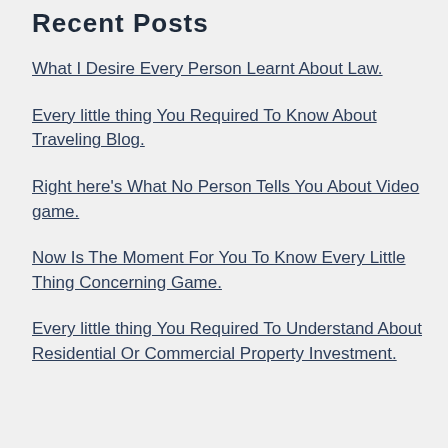Recent Posts
What I Desire Every Person Learnt About Law.
Every little thing You Required To Know About Traveling Blog.
Right here's What No Person Tells You About Video game.
Now Is The Moment For You To Know Every Little Thing Concerning Game.
Every little thing You Required To Understand About Residential Or Commercial Property Investment.